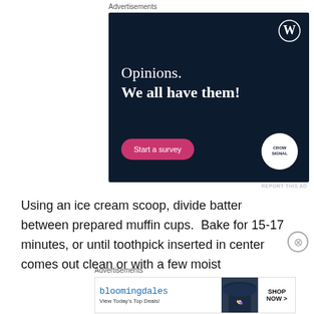Advertisements
[Figure (photo): Advertisement banner for Crowdsignal/WordPress survey tool. Dark navy background with WordPress logo top right. White text reads 'Opinions. We all have them!' with a pink 'Start a survey' button and Crowdsignal circular logo bottom right.]
REPORT THIS AD
Using an ice cream scoop, divide batter between prepared muffin cups.  Bake for 15-17 minutes, or until toothpick inserted in center comes out clean or with a few moist
Advertisements
[Figure (photo): Bloomingdale's advertisement banner. White background with Bloomingdale's logo in blue, model wearing large blue hat, and 'SHOP NOW >' button. Text: 'View Today's Top Deals!']